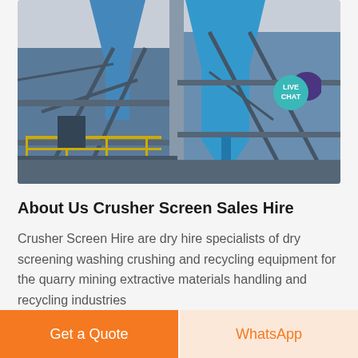[Figure (photo): Industrial crushing/screening plant with blue metal hoppers and silos on steel framework, photographed from below looking up. Yellow safety railings visible on left side. A live chat button overlay in teal/purple is visible in the top right corner.]
About Us Crusher Screen Sales Hire
Crusher Screen Hire are dry hire specialists of dry screening washing crushing and recycling equipment for the quarry mining extractive materials handling and recycling industries
Get a Quote
WhatsApp